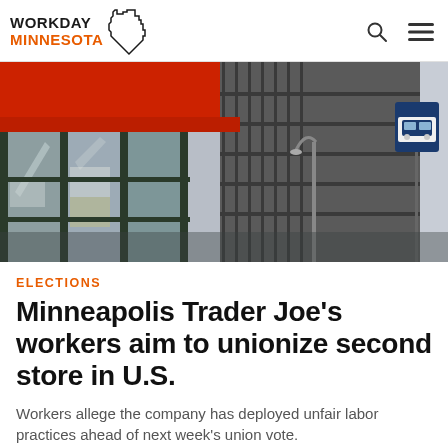WORKDAY MINNESOTA
[Figure (photo): Exterior photo of a building shot from a low angle, showing large glass windows with green frames, a red overhanging element at top left, a street lamp, and a bus stop sign on the right side against an overcast sky.]
ELECTIONS
Minneapolis Trader Joe's workers aim to unionize second store in U.S.
Workers allege the company has deployed unfair labor practices ahead of next week's union vote.